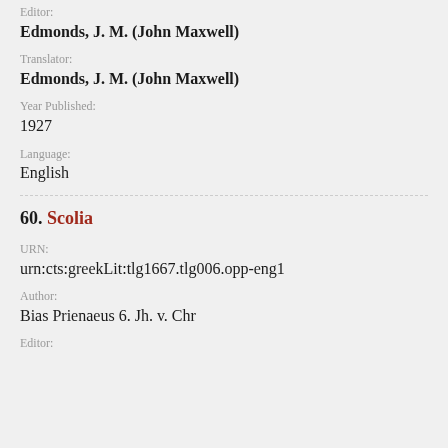Editor:
Edmonds, J. M. (John Maxwell)
Translator:
Edmonds, J. M. (John Maxwell)
Year Published:
1927
Language:
English
60. Scolia
URN:
urn:cts:greekLit:tlg1667.tlg006.opp-eng1
Author:
Bias Prienaeus 6. Jh. v. Chr
Editor: